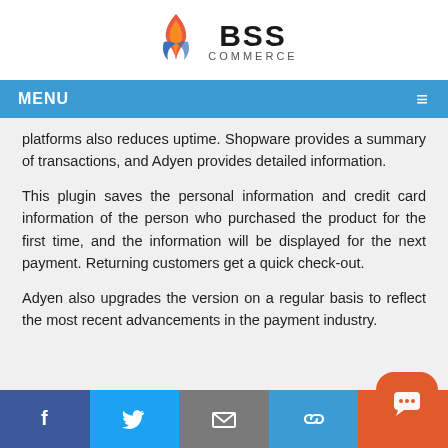[Figure (logo): BSS Commerce logo with flame icon and text 'BSS COMMERCE']
MENU
platforms also reduces uptime. Shopware provides a summary of transactions, and Adyen provides detailed information.
This plugin saves the personal information and credit card information of the person who purchased the product for the first time, and the information will be displayed for the next payment. Returning customers get a quick check-out.
Adyen also upgrades the version on a regular basis to reflect the most recent advancements in the payment industry.
Facebook | Twitter | Email | Link | Chat